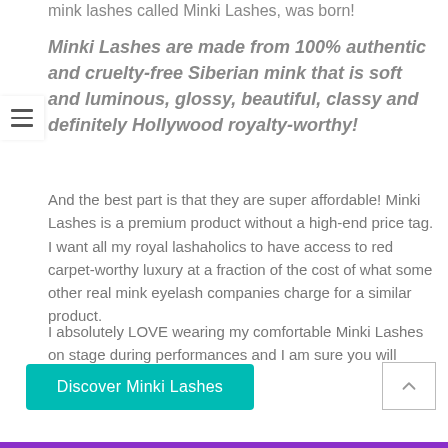mink lashes called Minki Lashes, was born!
Minki Lashes are made from 100% authentic and cruelty-free Siberian mink that is soft and luminous, glossy, beautiful, classy and definitely Hollywood royalty-worthy!
And the best part is that they are super affordable! Minki Lashes is a premium product without a high-end price tag. I want all my royal lashaholics to have access to red carpet-worthy luxury at a fraction of the cost of what some other real mink eyelash companies charge for a similar product.
I absolutely LOVE wearing my comfortable Minki Lashes on stage during performances and I am sure you will LOVE them too!
Discover Minki Lashes